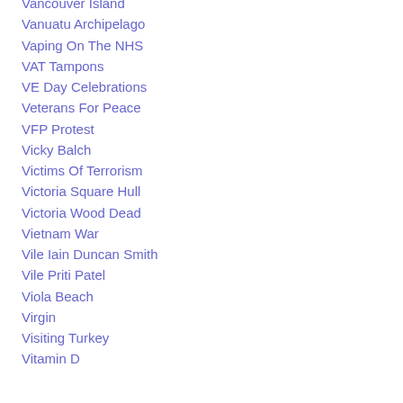Vancouver Island
Vanuatu Archipelago
Vaping On The NHS
VAT Tampons
VE Day Celebrations
Veterans For Peace
VFP Protest
Vicky Balch
Victims Of Terrorism
Victoria Square Hull
Victoria Wood Dead
Vietnam War
Vile Iain Duncan Smith
Vile Priti Patel
Viola Beach
Virgin
Visiting Turkey
Vitamin D